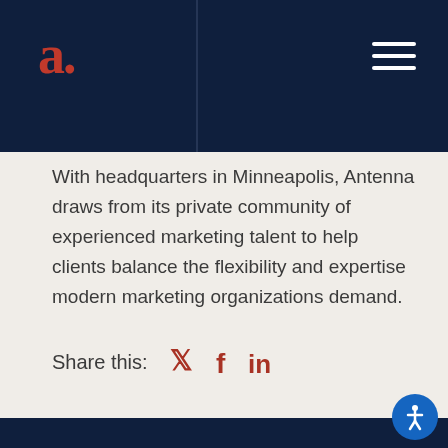Antenna logo and navigation bar
With headquarters in Minneapolis, Antenna draws from its private community of experienced marketing talent to help clients balance the flexibility and expertise modern marketing organizations demand.
Share this: [Twitter] [Facebook] [LinkedIn]
← PREVIOUS
Five Rules for Content
NEXT →
The Simple Guide to Improving Your Email Automation